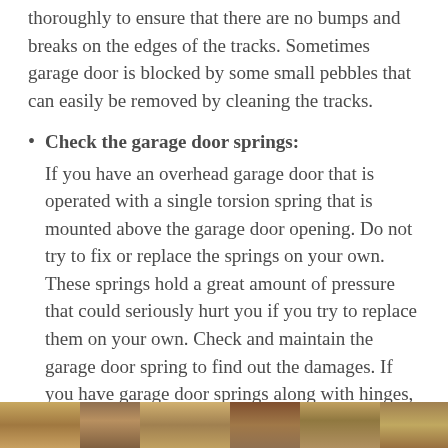thoroughly to ensure that there are no bumps and breaks on the edges of the tracks. Sometimes garage door is blocked by some small pebbles that can easily be removed by cleaning the tracks.
Check the garage door springs: If you have an overhead garage door that is operated with a single torsion spring that is mounted above the garage door opening. Do not try to fix or replace the springs on your own. These springs hold a great amount of pressure that could seriously hurt you if you try to replace them on your own. Check and maintain the garage door spring to find out the damages. If you have garage door springs along with hinges, they are less dangerous to handle but they could still cause some damage. If they are broken, it is suggested to call a garage door expert.
[Figure (photo): Partial photo strip at bottom of page showing what appears to be garage door hardware/springs, cropped at bottom edge]